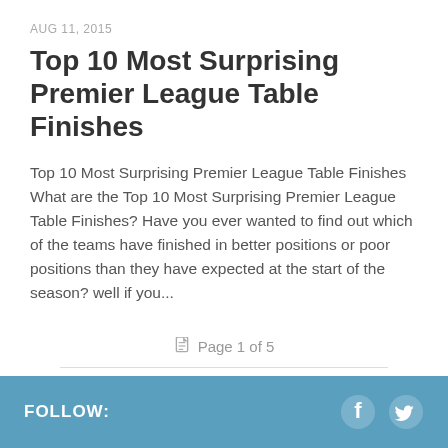AUG 11, 2015
Top 10 Most Surprising Premier League Table Finishes
Top 10 Most Surprising Premier League Table Finishes What are the Top 10 Most Surprising Premier League Table Finishes? Have you ever wanted to find out which of the teams have finished in better positions or poor positions than they have expected at the start of the season? well if you...
Page 1 of 5
1 2 3 4 5 »
FOLLOW: